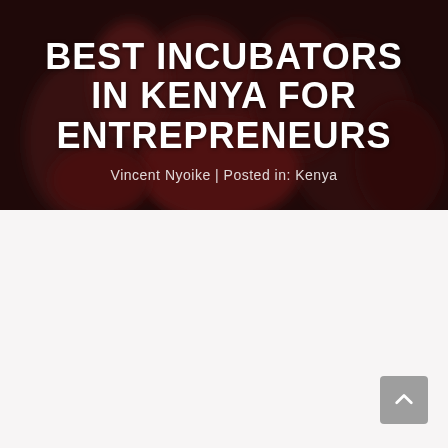[Figure (photo): Dark-toned photo of people (crowd/entrepreneurs) used as a hero background image, with a dark overlay. Text overlay reads 'BEST INCUBATORS IN KENYA FOR ENTREPRENEURS' and byline 'Vincent Nyoike | Posted in: Kenya'.]
BEST INCUBATORS IN KENYA FOR ENTREPRENEURS
Vincent Nyoike | Posted in: Kenya